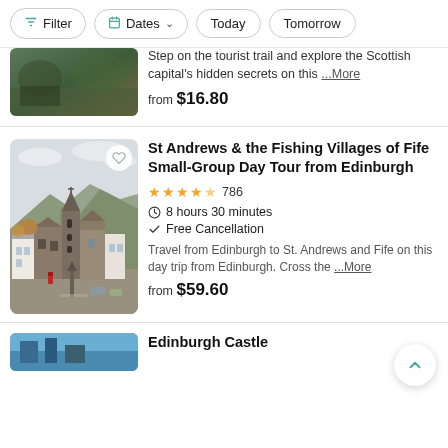Filter | Dates | Today | Tomorrow
Step on the tourist trail and explore the Scottish capital's hidden secrets on this ...More
from $16.80
St Andrews & the Fishing Villages of Fife Small-Group Day Tour from Edinburgh
★★★★½ 786 | 8 hours 30 minutes | Free Cancellation
Travel from Edinburgh to St. Andrews and Fife on this day trip from Edinburgh. Cross the ...More
from $59.60
Edinburgh Castle